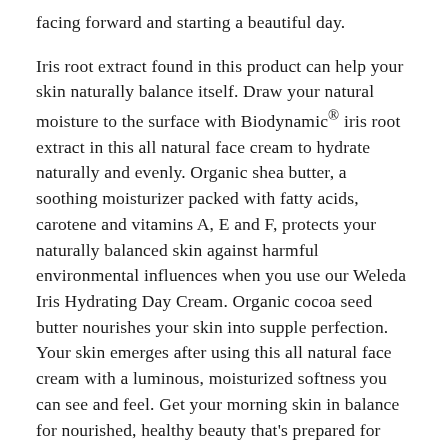facing forward and starting a beautiful day.
Iris root extract found in this product can help your skin naturally balance itself. Draw your natural moisture to the surface with Biodynamic® iris root extract in this all natural face cream to hydrate naturally and evenly. Organic shea butter, a soothing moisturizer packed with fatty acids, carotene and vitamins A, E and F, protects your naturally balanced skin against harmful environmental influences when you use our Weleda Iris Hydrating Day Cream. Organic cocoa seed butter nourishes your skin into supple perfection. Your skin emerges after using this all natural face cream with a luminous, moisturized softness you can see and feel. Get your morning skin in balance for nourished, healthy beauty that's prepared for whatever your day throws at you.